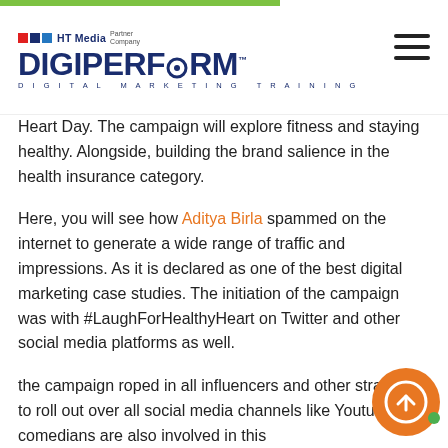HT Media Partner Company — DIGIPERFORM — DIGITAL MARKETING TRAINING
Heart Day. The campaign will explore fitness and staying healthy. Alongside, building the brand salience in the health insurance category.
Here, you will see how Aditya Birla spammed on the internet to generate a wide range of traffic and impressions. As it is declared as one of the best digital marketing case studies. The initiation of the campaign was with #LaughForHealthyHeart on Twitter and other social media platforms as well.
the campaign roped in all influencers and other strategies to roll out over all social media channels like Youtube. The comedians are also involved in this